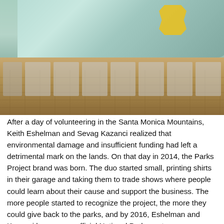[Figure (photo): A light mint/seafoam green garment or fabric draped over what appears to be a wooden chair with rattan weaving, with a yellow logo mark visible in the upper right portion. The image has a blurred/redacted strip across the middle section.]
After a day of volunteering in the Santa Monica Mountains, Keith Eshelman and Sevag Kazanci realized that environmental damage and insufficient funding had left a detrimental mark on the lands. On that day in 2014, the Parks Project brand was born. The duo started small, printing shirts in their garage and taking them to trade shows where people could learn about their cause and support the business. The more people started to recognize the project, the more they could give back to the parks, and by 2016, Eshelman and Kazanci became an official National Parks partner.
While Eshelman and Kazanci helped the parks by donating money from their apparel sales to help fund projects, they did not stop there. In 2019, the two launched their Volunteer Alliance Field Crew program, which hosts volunteer days all over the country to help clean up the